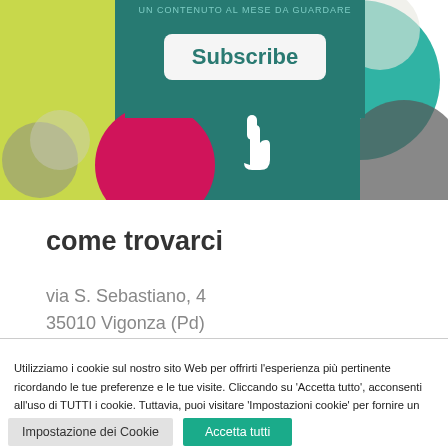[Figure (screenshot): Screenshot of a website showing a Subscribe button with a hand cursor over it, on a teal/green background, with colorful abstract shapes including a red circle.]
come trovarci
via S. Sebastiano, 4
35010 Vigonza (Pd)
Utilizziamo i cookie sul nostro sito Web per offrirti l'esperienza più pertinente ricordando le tue preferenze e le tue visite. Cliccando su 'Accetta tutto', acconsenti all'uso di TUTTI i cookie. Tuttavia, puoi visitare 'Impostazioni cookie' per fornire un consenso controllato.